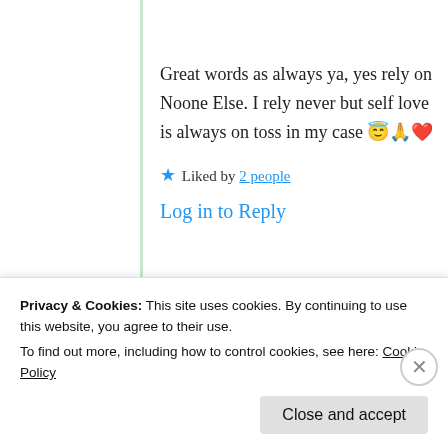Great words as always ya, yes rely on Noone Else. I rely never but self love is always on toss in my case 😇🙏❤️
★ Liked by 2 people
Log in to Reply
Yernasia
Privacy & Cookies: This site uses cookies. By continuing to use this website, you agree to their use. To find out more, including how to control cookies, see here: Cookie Policy
Close and accept